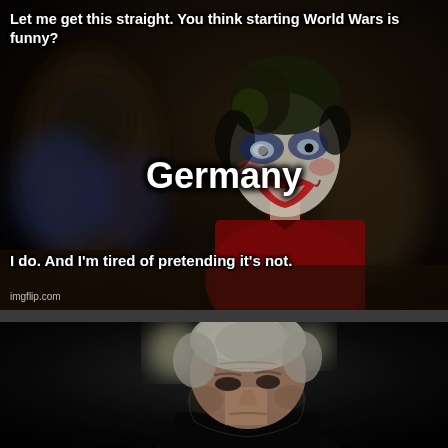[Figure (photo): Top meme panel: Movie still of the Joker character in clown makeup (white face, blue eye makeup, red lips, dark hair) wearing a red jacket, looking back over his shoulder. Dark atmospheric background with blurred figures. Text overlay reads: 'Let me get this straight. You think starting World Wars is funny?' at the top, 'Germany' in large text in the middle-right area, and 'I do. And I'm tired of pretending it's not.' at the bottom. Watermark: imgflip.com]
[Figure (photo): Bottom meme panel: Movie still of an older man with silver/white hair, looking downward with a serious/somber expression. Dark, blurred background with two bright bokeh light spots. No text overlay visible.]